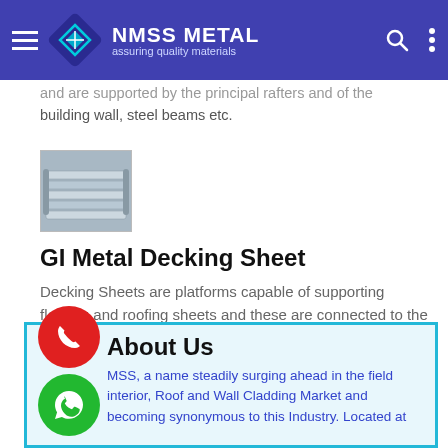NMSS METAL — assuring quality materials
and are supported by the principal rafters and of the building wall, steel beams etc.
[Figure (photo): Thumbnail photo of GI metal decking sheets stacked together, silver/grey color]
GI Metal Decking Sheet
Decking Sheets are platforms capable of supporting flooring and roofing sheets and these are connected to the outer or inner part of building structure.
About Us
MSS, a name steadily surging ahead in the field interior, Roof and Wall Cladding Market and becoming synonymous to this Industry. Located at